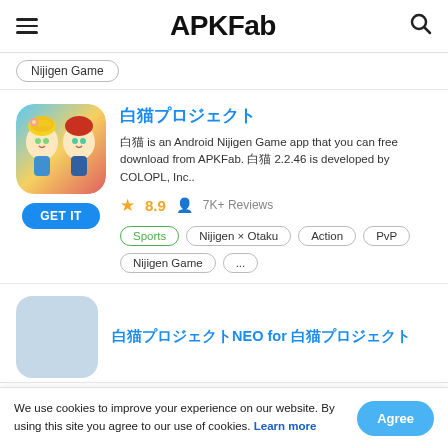APKFab
Nijigen Game
白猫プロジェクト
白猫 is an Android Nijigen Game app that you can free download from APKFab. 白猫 2.2.46 is developed by COLOPL, Inc..
8.9  7K+ Reviews
Sports
Nijigen × Otaku
Action
PvP
Nijigen Game
...
白猫プロジェクトNEO for 白猫プロジェクト
We use cookies to improve your experience on our website. By using this site you agree to our use of cookies. Learn more